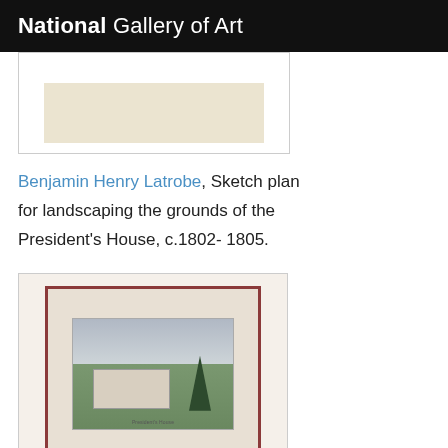National Gallery of Art
[Figure (photo): Partial view of a sketch or drawing artwork, top portion visible in a light-colored frame]
Benjamin Henry Latrobe, Sketch plan for landscaping the grounds of the President's House, c.1802-1805.
[Figure (photo): Framed print or engraving showing a building (possibly President's House) with trees and landscaped grounds, displayed in a red-bordered book or portfolio.]